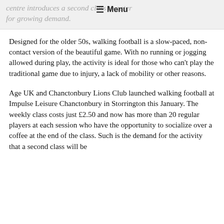centre introduces a second class to cater for growing demand.
Designed for the older 50s, walking football is a slow-paced, non-contact version of the beautiful game. With no running or jogging allowed during play, the activity is ideal for those who can't play the traditional game due to injury, a lack of mobility or other reasons.
Age UK and Chanctonbury Lions Club launched walking football at Impulse Leisure Chanctonbury in Storrington this January. The weekly class costs just £2.50 and now has more than 20 regular players at each session who have the opportunity to socialize over a coffee at the end of the class. Such is the demand for the activity that a second class will be